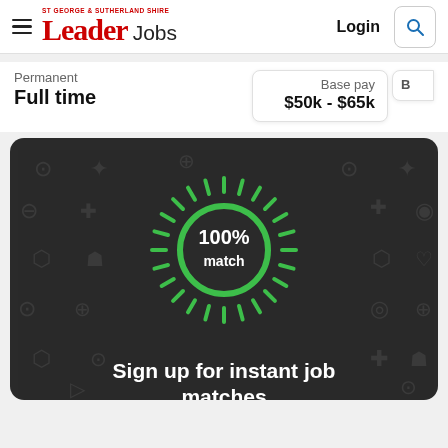St George & Sutherland Shire Leader Jobs — Login
Permanent
Full time
Base pay
$50k - $65k
[Figure (infographic): Dark rounded banner showing a green glowing circle with '100% match' text inside, surrounded by radiating green dash lines, on a dark background with faded job-category icons. Below the circle is bold white text: 'Sign up for instant job matches']
Sign up for instant job matches